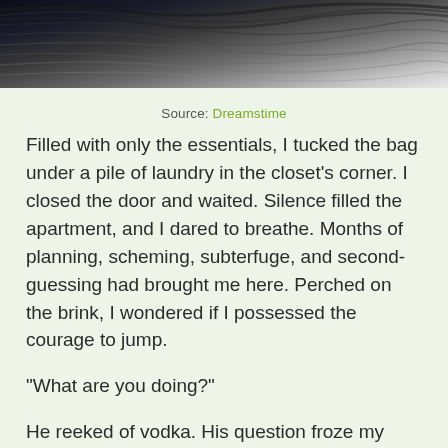[Figure (photo): Close-up photograph of dark wood grain texture with light streaks, shown at top of page]
Source: Dreamstime
Filled with only the essentials, I tucked the bag under a pile of laundry in the closet’s corner. I closed the door and waited. Silence filled the apartment, and I dared to breathe. Months of planning, scheming, subterfuge, and second-guessing had brought me here. Perched on the brink, I wondered if I possessed the courage to jump.
“What are you doing?”
He reeked of vodka. His question froze my blood making my heart pound as it tried to keep me alive.